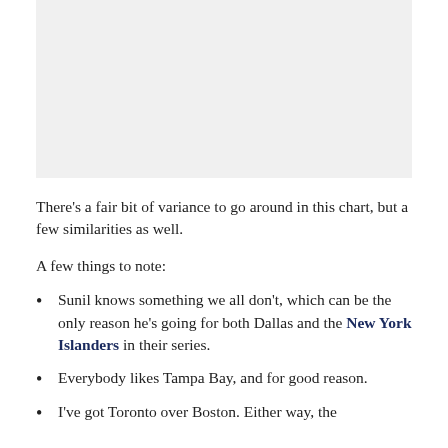[Figure (other): Blank/placeholder chart area at top of page]
There’s a fair bit of variance to go around in this chart, but a few similarities as well.
A few things to note:
Sunil knows something we all don’t, which can be the only reason he’s going for both Dallas and the New York Islanders in their series.
Everybody likes Tampa Bay, and for good reason.
I’ve got Toronto over Boston. Either way, the